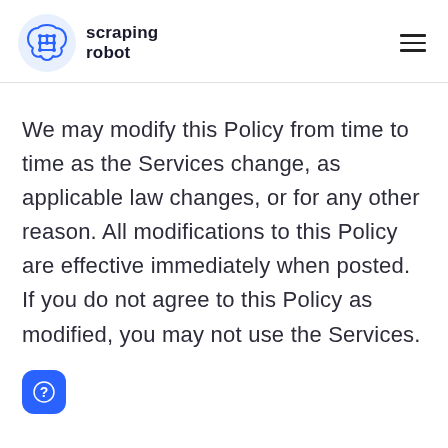[Figure (logo): Scraping Robot logo: blue circuit-brain icon with text 'scraping robot' in dark bold font, and a hamburger menu icon on the right]
We may modify this Policy from time to time as the Services change, as applicable law changes, or for any other reason. All modifications to this Policy are effective immediately when posted. If you do not agree to this Policy as modified, you may not use the Services.
[Figure (other): Blue rounded square button with a question mark icon (help/chat widget)]